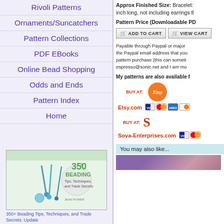Rivoli Patterns
Ornaments/Suncatchers
Pattern Collections
PDF EBooks
Online Bead Shopping
Odds and Ends
Pattern Index
Home
[Figure (photo): Book cover: 350+ Beading Tips, Techniques, and Trade Secrets with jewelry/beads on cover]
350+ Beading Tips, Techniques, and Trade Secrets: Update
Approx Finished Size: Bracelet: inch long, not including earrings fi
Pattern Price (Downloadable PD
Payable through Paypal or major the Paypal email address that you pattern purchase (this can someti espresso@sonic.net and I am mo
My patterns are also available f
BUY AT:
Etsy.com
BUY AT:
Sova-Enterprises.com
You may also like...